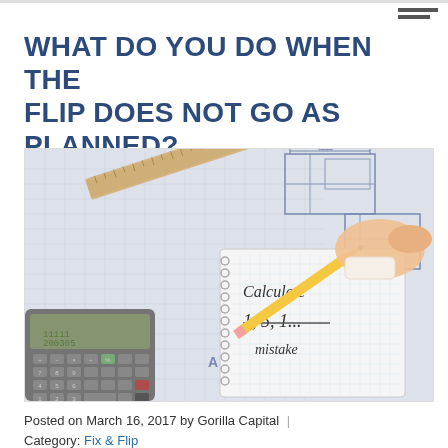WHAT DO YOU DO WHEN THE FLIP DOES NOT GO AS PLANNED?
[Figure (photo): Overhead view of a desk with architectural blueprints/drawings, a calculator, a pencil, and a spiral notebook showing handwritten text 'Calculate 1, 5, 1... mistake', with a hand holding an eraser.]
Posted on March 16, 2017 by Gorilla Capital | Category: Fix & Flip